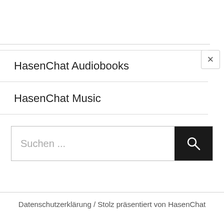HasenChat Audiobooks
HasenChat Music
[Figure (screenshot): Search input box with placeholder text 'Suchen ...' and a black search button with magnifying glass icon]
Datenschutzerklärung / Stolz präsentiert von HasenChat